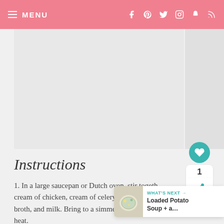≡ MENU
[Figure (photo): Large recipe image placeholder (light gray) with a narrower sidebar area to the right]
Instructions
1. In a large saucepan or Dutch oven, stir together cream of chicken, cream of celery, ch... broth, and milk. Bring to a simmer ove... heat.
[Figure (photo): What's Next thumbnail overlay showing a bowl of Loaded Potato Soup]